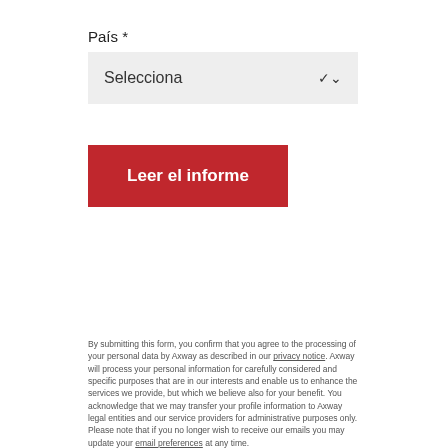País *
Selecciona
Leer el informe
By submitting this form, you confirm that you agree to the processing of your personal data by Axway as described in our privacy notice. Axway will process your personal information for carefully considered and specific purposes that are in our interests and enable us to enhance the services we provide, but which we believe also for your benefit. You acknowledge that we may transfer your profile information to Axway legal entities and our service providers for administrative purposes only. Please note that if you no longer wish to receive our emails you may update your email preferences at any time.